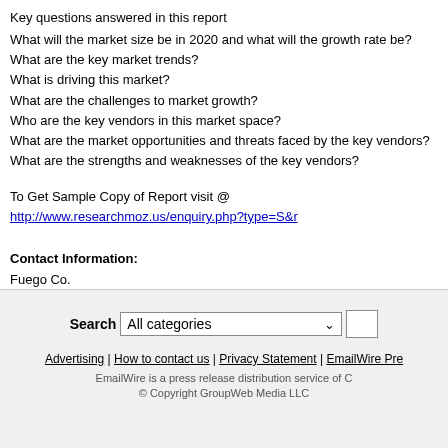Key questions answered in this report
What will the market size be in 2020 and what will the growth rate be?
What are the key market trends?
What is driving this market?
What are the challenges to market growth?
Who are the key vendors in this market space?
What are the market opportunities and threats faced by the key vendors?
What are the strengths and weaknesses of the key vendors?
To Get Sample Copy of Report visit @ http://www.researchmoz.us/enquiry.php?type=S&r
Contact Information:
Fuego Co.
Researchmoz
Tel: +1-518-621-2074
Email us
----
This press release is posted on EmailWire.com -- a global newswire that provides Press R Distribution Services with Guaranteed Results
Search All categories | Advertising | How to contact us | Privacy Statement | EmailWire Pre
EmailWire is a press release distribution service of C
© Copyright GroupWeb Media LLC